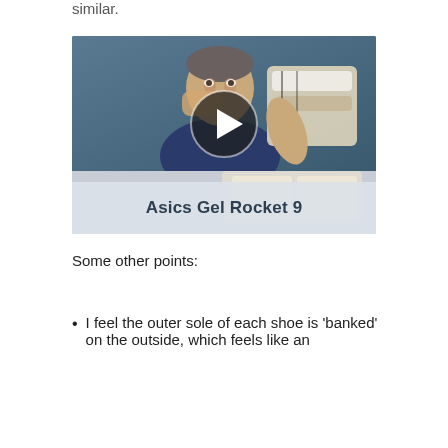similar.
[Figure (screenshot): Video thumbnail showing a man holding shoes up to his face with a play button overlay. Text at bottom reads 'Asics Gel Rocket 9'.]
Some other points:
I feel the outer sole of each shoe is 'banked' on the outside, which feels like an